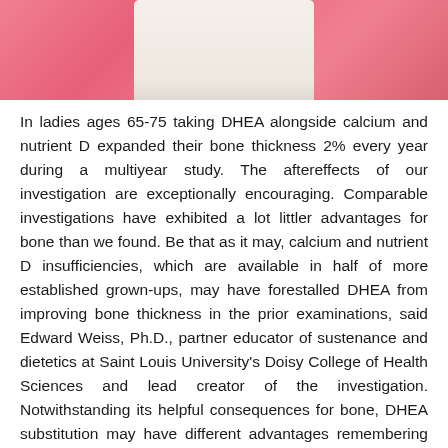[Figure (photo): Partial image of a figure or person against a pink background, showing white/cream colored clothing, cropped at top]
In ladies ages 65-75 taking DHEA alongside calcium and nutrient D expanded their bone thickness 2% every year during a multiyear study. The aftereffects of our investigation are exceptionally encouraging. Comparable investigations have exhibited a lot littler advantages for bone than we found. Be that as it may, calcium and nutrient D insufficiencies, which are available in half of more established grown-ups, may have forestalled DHEA from improving bone thickness in the prior examinations, said Edward Weiss, Ph.D., partner educator of sustenance and dietetics at Saint Louis University's Doisy College of Health Sciences and lead creator of the investigation. Notwithstanding its helpful consequences for bone, DHEA substitution may have different advantages remembering enhancements for hazard factors for diabetes and coronary illness, upgrades in safe capacity, and enhancements in mental wellbeing, Weiss said.